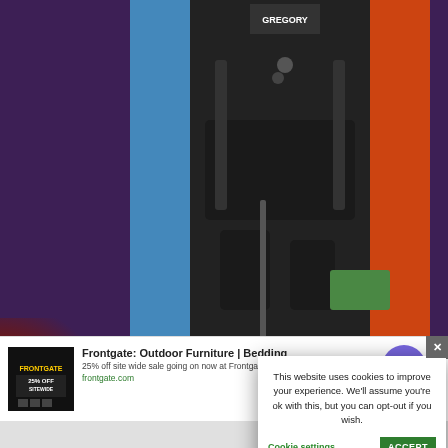[Figure (photo): Photo of a person wearing a black Gregory brand backpack, with blue and orange backpacks visible on either side, holding trekking poles with black gloves, green gear visible at bottom right]
The la
comments
tweet
This website uses cookies to improve your experience. We'll assume you're ok with this, but you can opt-out if you wish.
Cookie settings  ACCEPT
Frontgate: Outdoor Furniture | Bedding
25% off site wide sale going on now at Frontgate.com
frontgate.com